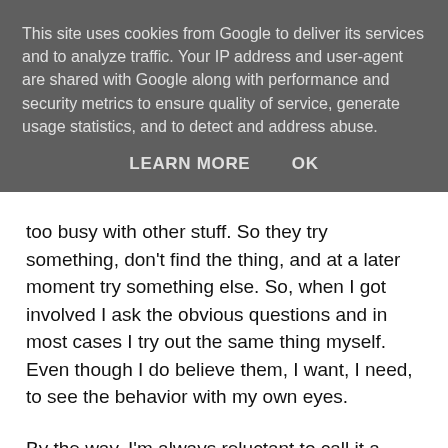This site uses cookies from Google to deliver its services and to analyze traffic. Your IP address and user-agent are shared with Google along with performance and security metrics to ensure quality of service, generate usage statistics, and to detect and address abuse.
LEARN MORE   OK
too busy with other stuff. So they try something, don't find the thing, and at a later moment try something else. So, when I got involved I ask the obvious questions and in most cases I try out the same thing myself. Even though I do believe them, I want, I need,  to see the behavior with my own eyes.
By the way, I'm always reluctant to call it a bug. A bug is only a bug when you have reproduced it and based on common interpretation, together with the tester (if he found the issue), the functional/solution designer come to a consensus that the code does not do what it is supposed to. The functional specs are interpreted by both the tester and the developer. And in a certain way also the designer. It might be that the